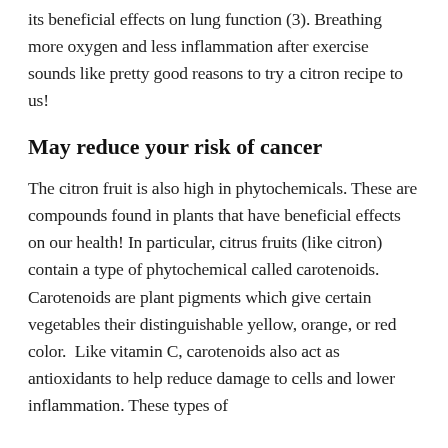its beneficial effects on lung function (3). Breathing more oxygen and less inflammation after exercise sounds like pretty good reasons to try a citron recipe to us!
May reduce your risk of cancer
The citron fruit is also high in phytochemicals. These are compounds found in plants that have beneficial effects on our health! In particular, citrus fruits (like citron) contain a type of phytochemical called carotenoids. Carotenoids are plant pigments which give certain vegetables their distinguishable yellow, orange, or red color.  Like vitamin C, carotenoids also act as antioxidants to help reduce damage to cells and lower inflammation. These types of